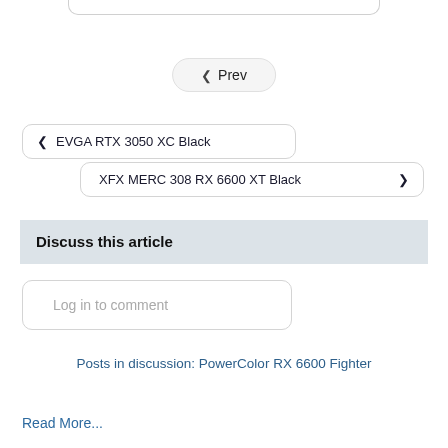[Figure (other): Top border bar partial UI element]
‹ Prev
‹ EVGA RTX 3050 XC Black
XFX MERC 308 RX 6600 XT Black ›
Discuss this article
Log in to comment
Posts in discussion: PowerColor RX 6600 Fighter
Read More...